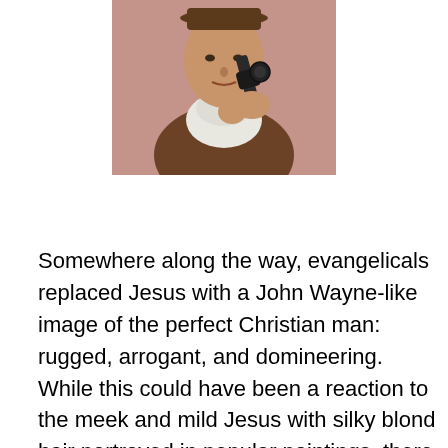[Figure (photo): A colorized photo of a man in a brown jacket and white scarf/neckerchief holding a revolver pistol pointed upward, against a pinkish background.]
Somewhere along the way, evangelicals replaced Jesus with a John Wayne-like image of the perfect Christian man: rugged, arrogant, and domineering. While this could have been a reaction to the meek and mild Jesus with silky blond hair portrayed in popular paintings, there is a lot of daylight between those two images, and neither one is true. Du Mez shows that as the patriarchy grew stronger and stronger, the churches and parachurch organizations that adopted complementarianism most heartily began to leak reports of sexual abuse. Furthermore, the leaders across the entire movement were so close that they covered up for one another. Here, as in her entire history